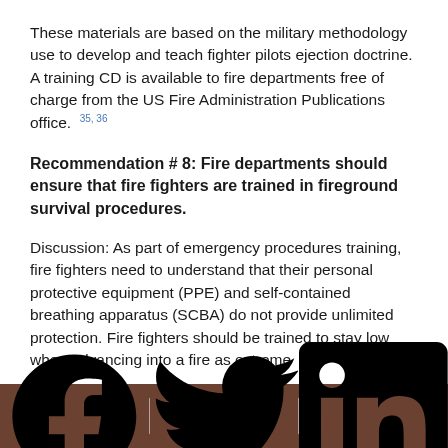These materials are based on the military methodology use to develop and teach fighter pilots ejection doctrine. A training CD is available to fire departments free of charge from the US Fire Administration Publications office. 35, 36
Recommendation # 8: Fire departments should ensure that fire fighters are trained in fireground survival procedures.
Discussion: As part of emergency procedures training, fire fighters need to understand that their personal protective equipment (PPE) and self-contained breathing apparatus (SCBA) do not provide unlimited protection. Fire fighters should be trained to stay low when advancing into a fire as extreme
[Facebook] [Twitter] [LinkedIn]